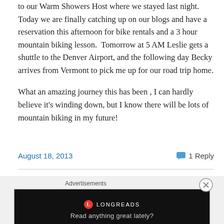to our Warm Showers Host where we stayed last night. Today we are finally catching up on our blogs and have a reservation this afternoon for bike rentals and a 3 hour mountain biking lesson.  Tomorrow at 5 AM Leslie gets a shuttle to the Denver Airport, and the following day Becky arrives from Vermont to pick me up for our road trip home.
What an amazing journey this has been , I can hardly believe it's winding down, but I know there will be lots of mountain biking in my future!
August 18, 2013    1 Reply
[Figure (other): Advertisement banner for Longreads with black background and tagline 'Read anything great lately?']